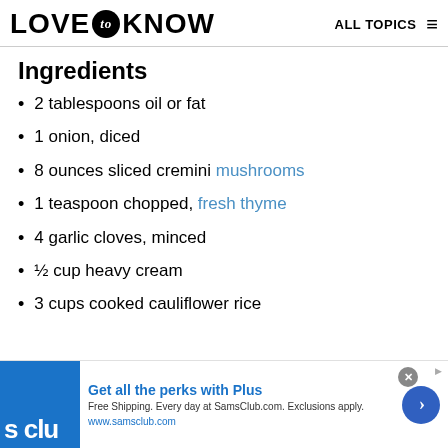LOVE to KNOW   ALL TOPICS
Ingredients
2 tablespoons oil or fat
1 onion, diced
8 ounces sliced cremini mushrooms
1 teaspoon chopped, fresh thyme
4 garlic cloves, minced
½ cup heavy cream
3 cups cooked cauliflower rice
Get all the perks with Plus. Free Shipping. Every day at SamsClub.com. Exclusions apply. www.samsclub.com